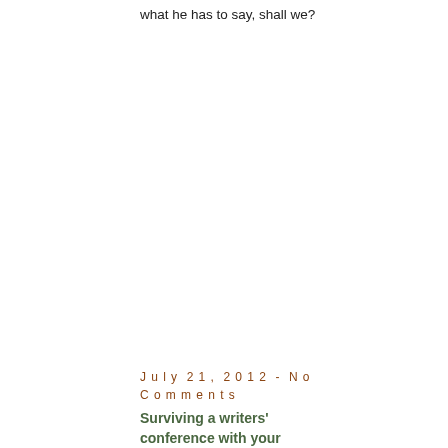what he has to say, shall we?
July 21, 2012 - No Comments
Surviving a writers' conference with your